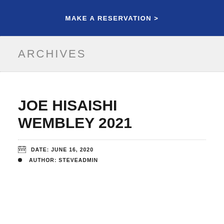MAKE A RESERVATION >
ARCHIVES
JOE HISAISHI WEMBLEY 2021
DATE: JUNE 16, 2020
AUTHOR: STEVEADMIN